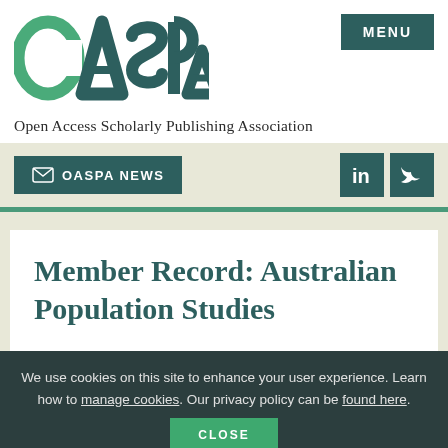[Figure (logo): OASPA logo in teal/green with stylized letters]
MENU
Open Access Scholarly Publishing Association
OASPA NEWS
[Figure (logo): LinkedIn icon]
[Figure (logo): Twitter bird icon]
Member Record: Australian Population Studies
We use cookies on this site to enhance your user experience. Learn how to manage cookies. Our privacy policy can be found here.
CLOSE